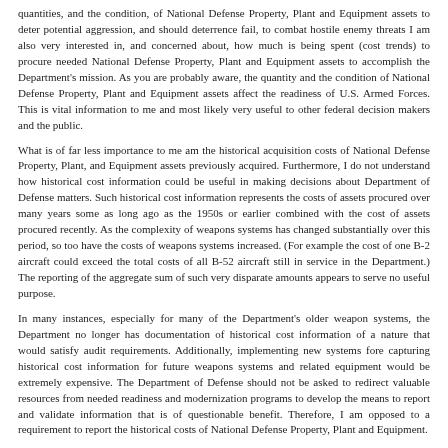quantities, and the condition, of National Defense Property, Plant and Equipment assets to deter potential aggression, and should deterrence fail, to combat hostile enemy threats I am also very interested in, and concerned about, how much is being spent (cost trends) to procure needed National Defense Property, Plant and Equipment assets to accomplish the Department's mission. As you are probably aware, the quantity and the condition of National Defense Property, Plant and Equipment assets affect the readiness of U.S. Armed Forces. This is vital information to me and most likely very useful to other federal decision makers and the public.
What is of far less importance to me am the historical acquisition costs of National Defense Property, Plant, and Equipment assets previously acquired. Furthermore, I do not understand how historical cost information could be useful in making decisions about Department of Defense matters. Such historical cost information represents the costs of assets procured over many years some as long ago as the 1950s or earlier combined with the cost of assets procured recently. As the complexity of weapons systems has changed substantially over this period, so too have the costs of weapons systems increased. (For example the cost of one B-2 aircraft could exceed the total costs of all B-52 aircraft still in service in the Department.) The reporting of the aggregate sum of such very disparate amounts appears to serve no useful purpose.
In many instances, especially for many of the Department's older weapon systems, the Department no longer has documentation of historical cost information of a nature that would satisfy audit requirements. Additionally, implementing new systems fore capturing historical cost information for future weapons systems and related equipment would be extremely expensive. The Department of Defense should not be asked to redirect valuable resources from needed readiness and modernization programs to develop the means to report and validate information that is of questionable benefit. Therefore, I am opposed to a requirement to report the historical costs of National Defense Property, Plant and Equipment.